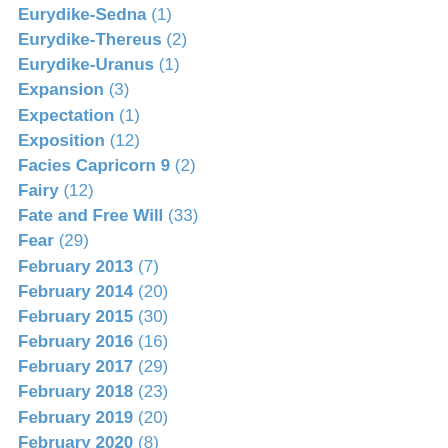Eurydike-Sedna (1)
Eurydike-Thereus (2)
Eurydike-Uranus (1)
Expansion (3)
Expectation (1)
Exposition (12)
Facies Capricorn 9 (2)
Fairy (12)
Fate and Free Will (33)
Fear (29)
February 2013 (7)
February 2014 (20)
February 2015 (30)
February 2016 (16)
February 2017 (29)
February 2018 (23)
February 2019 (20)
February 2020 (8)
February 2021 (8)
February 2022 (1)